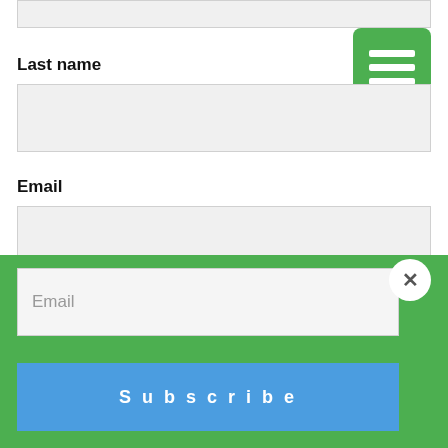Last name
Email
Database Updates
Land and Guild Records
Travel and Research
Subscribe
Email
Subscribe